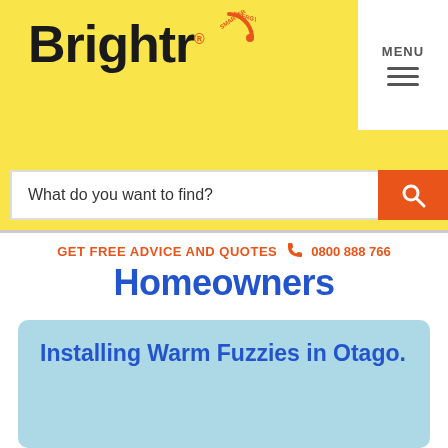[Figure (logo): Brightr logo with circular badge on yellow background]
[Figure (screenshot): Menu button with hamburger icon in top right white area]
[Figure (screenshot): Search bar with placeholder text 'What do you want to find?' and orange search button]
GET FREE ADVICE AND QUOTES   📞  0800 888 766
Homeowners
Installing Warm Fuzzies in Otago.